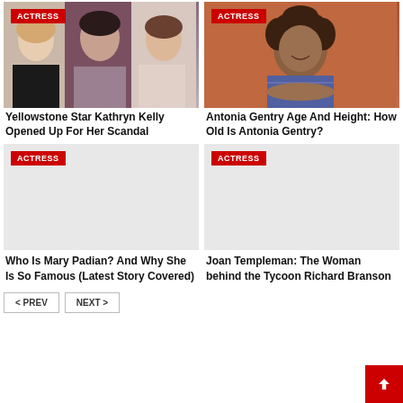[Figure (photo): Photo of Yellowstone Star Kathryn Kelly - three women in a collage]
[Figure (photo): Photo of Antonia Gentry smiling, lying on red couch]
Yellowstone Star Kathryn Kelly Opened Up For Her Scandal
Antonia Gentry Age And Height: How Old Is Antonia Gentry?
[Figure (photo): Photo placeholder for Mary Padian article - grey background with ACTRESS badge]
[Figure (photo): Photo placeholder for Joan Templeman article - grey background with ACTRESS badge]
Who Is Mary Padian? And Why She Is So Famous (Latest Story Covered)
Joan Templeman: The Woman behind the Tycoon Richard Branson
< PREV   NEXT >